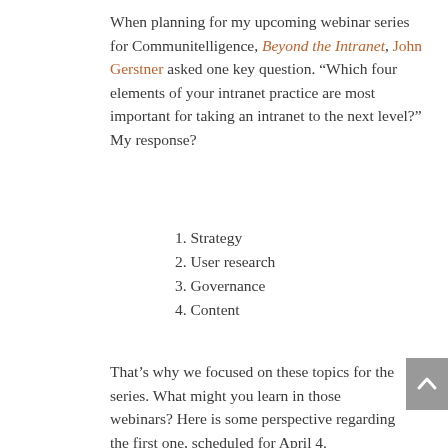When planning for my upcoming webinar series for Communitelligence, Beyond the Intranet, John Gerstner asked one key question. “Which four elements of your intranet practice are most important for taking an intranet to the next level?” My response?
1. Strategy
2. User research
3. Governance
4. Content
That’s why we focused on these topics for the series. What might you learn in those webinars? Here is some perspective regarding the first one, scheduled for April 4.
Intranet strategy
What is really important to your business? Currently